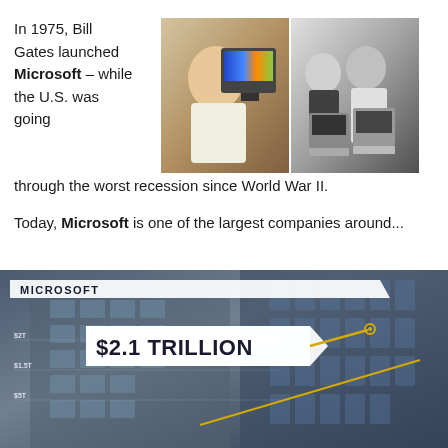In 1975, Bill Gates launched Microsoft – while the U.S. was going through the worst recession since World War II.
[Figure (photo): Two vintage photos side by side: left shows Bill Gates smiling in front of a colorful computer monitor, right shows two men (Bill Gates and Paul Allen) standing behind early computer equipment, in black and white.]
Today, Microsoft is one of the largest companies around...
[Figure (infographic): Microsoft infographic banner over a city building background showing '$2.1 TRILLION' in a badge/arrow shape, with y-axis labels ($2T, $1.5T, $5T) and a diagonal line/arrow, labeled 'MICROSOFT' at top left.]